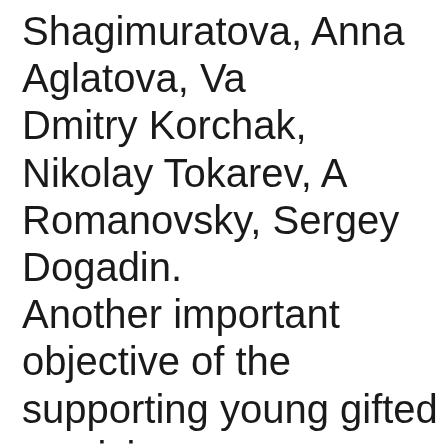Shagimuratova, Anna Aglatova, Va Dmitry Korchak, Nikolay Tokarev, A Romanovsky, Sergey Dogadin. Another important objective of the supporting young gifted musicians providing appropriate conditions fo professional and artistic growth. D 2004/2005 season the Orchestra h group of apprentices-conductors. T brightest of them have been given